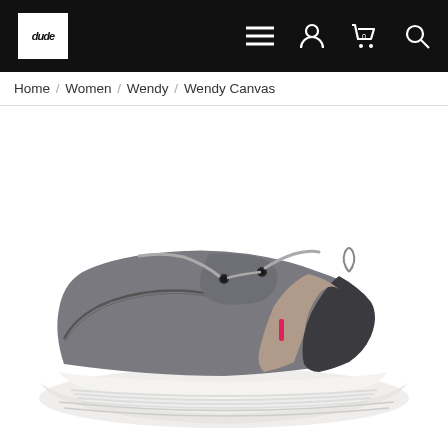Hey Dude navigation bar with logo, menu, account, cart (0), and search icons
Home / Women / Wendy / Wendy Canvas
[Figure (photo): Side profile of a Hey Dude Wendy Canvas shoe in grey with pink accents, grey laces, dark charcoal heel panel, taupe side panel, and white sole on a white background.]